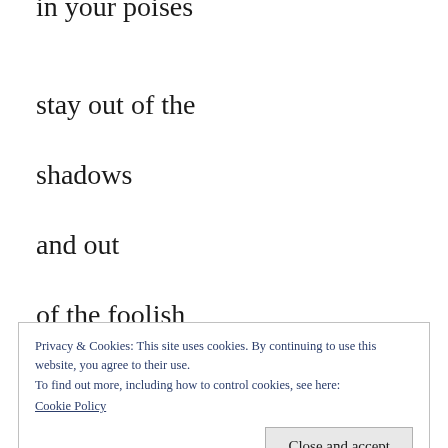in your poises
stay out of the
shadows
and out
of the foolish
Privacy & Cookies: This site uses cookies. By continuing to use this website, you agree to their use.
To find out more, including how to control cookies, see here:
Cookie Policy
Close and accept